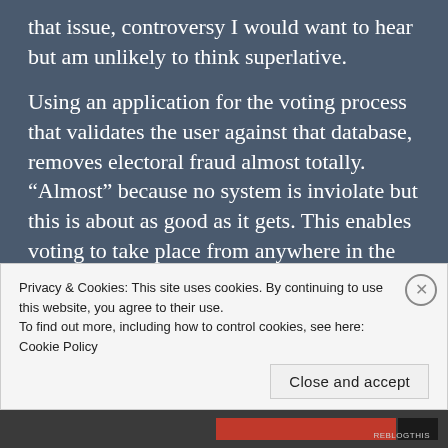that issue, controversy I would want to hear but am unlikely to think superlative.
Using an application for the voting process that validates the user against that database, removes electoral fraud almost totally. “Almost” because no system is inviolate but this is about as good as it gets. This enables voting to take place from anywhere in the world, at a time (of day) of choosing of the individual elector. It removes the need to count postal votes, which are wide open to fraud, is grossly bureaucratic and delays final
Privacy & Cookies: This site uses cookies. By continuing to use this website, you agree to their use.
To find out more, including how to control cookies, see here: Cookie Policy
Close and accept